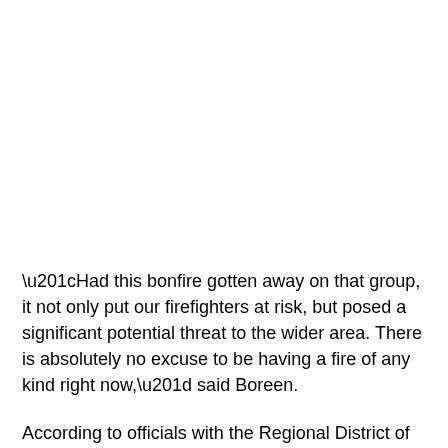“Had this bonfire gotten away on that group, it not only put our firefighters at risk, but posed a significant potential threat to the wider area. There is absolutely no excuse to be having a fire of any kind right now,” said Boreen.
According to officials with the Regional District of East Kootenay, the fire department will work with the RCMP and BC Conservation Officer Service to ensure proper law